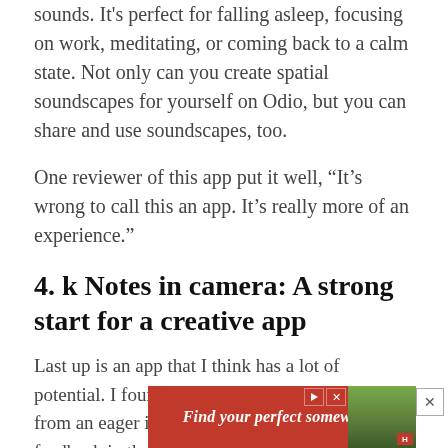sounds. It’s perfect for falling asleep, focusing on work, meditating, or coming back to a calm state. Not only can you create spatial soundscapes for yourself on Odio, but you can share and use soundscapes, too.
One reviewer of this app put it well, “It’s wrong to call this an app. It’s really more of an experience.”
4. k Notes in camera: A strong start for a creative app
Last up is an app that I think has a lot of potential. I found this app on a Reddit thread from an eager indie developer. They got some feedback in the comments on their post, and within a day had already updated the app accordingly.
[Figure (photo): Advertisement banner: red background with text 'Find your perfect somewhere' and a small landscape image on the right side]